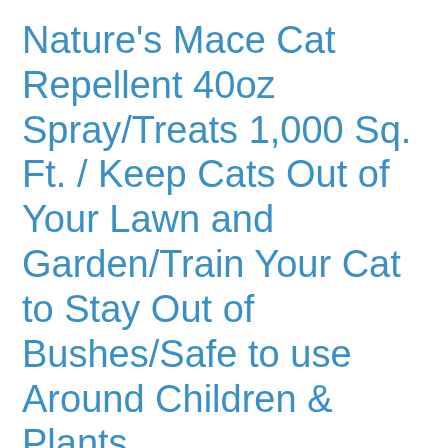Nature's Mace Cat Repellent 40oz Spray/Treats 1,000 Sq. Ft. / Keep Cats Out of Your Lawn and Garden/Train Your Cat to Stay Out of Bushes/Safe to use Around Children & Plants
POWERFUL & EFFECTIVE REPELLENT: Our Cat MACE formula is scientifically backed to have more active ingredients than any other cat repellents. We took the best products available and improved them to be